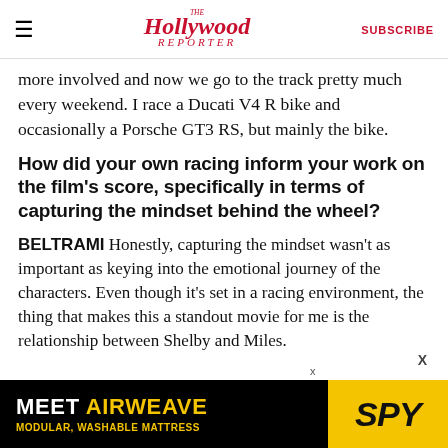The Hollywood Reporter | SUBSCRIBE
more involved and now we go to the track pretty much every weekend. I race a Ducati V4 R bike and occasionally a Porsche GT3 RS, but mainly the bike.
How did your own racing inform your work on the film's score, specifically in terms of capturing the mindset behind the wheel?
BELTRAMI Honestly, capturing the mindset wasn't as important as keying into the emotional journey of the characters. Even though it's set in a racing environment, the thing that makes this a standout movie for me is the relationship between Shelby and Miles.
[Figure (other): Advertisement banner: MEET AIRWEAVE / MODULAR, WASHABLE MATTRESS with SPY logo on yellow background]